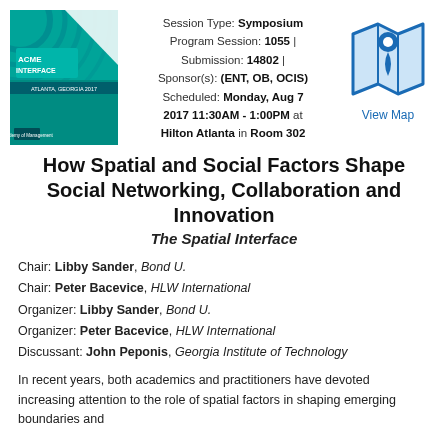[Figure (illustration): Conference book cover: ACME Interface, Atlanta, Georgia 2017, teal/blue design]
Session Type: Symposium
Program Session: 1055 | Submission: 14802 | Sponsor(s): (ENT, OB, OCIS)
Scheduled: Monday, Aug 7 2017 11:30AM - 1:00PM at Hilton Atlanta in Room 302
[Figure (illustration): Map pin / location icon in blue with an open map graphic underneath]
View Map
How Spatial and Social Factors Shape Social Networking, Collaboration and Innovation
The Spatial Interface
Chair: Libby Sander, Bond U.
Chair: Peter Bacevice, HLW International
Organizer: Libby Sander, Bond U.
Organizer: Peter Bacevice, HLW International
Discussant: John Peponis, Georgia Institute of Technology
In recent years, both academics and practitioners have devoted increasing attention to the role of spatial factors in shaping emerging boundaries and